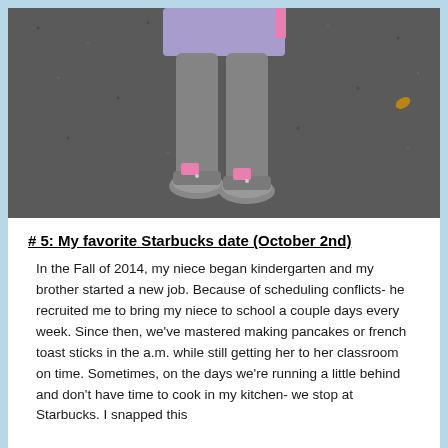[Figure (photo): Photo showing the lower body of a child standing on asphalt pavement, wearing a purple/lavender top, grey leggings, and grey/pink sneakers.]
# 5: My favorite Starbucks date (October 2nd)
In the Fall of 2014, my niece began kindergarten and my brother started a new job. Because of scheduling conflicts- he recruited me to bring my niece to school a couple days every week. Since then, we've mastered making pancakes or french toast sticks in the a.m. while still getting her to her classroom on time. Sometimes, on the days we're running a little behind and don't have time to cook in my kitchen- we stop at Starbucks. I snapped this